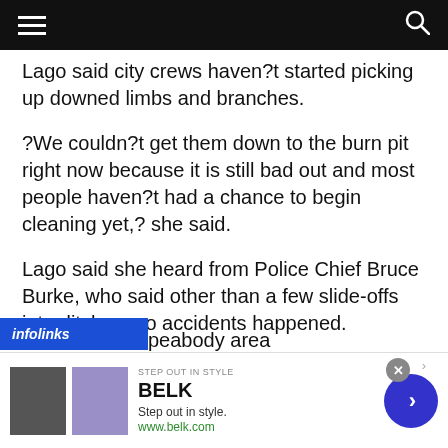Navigation header with hamburger menu and search icon
Lago said city crews haven?t started picking up downed limbs and branches.
?We couldn?t get them down to the burn pit right now because it is still bad out and most people haven?t had a chance to begin cleaning yet,? she said.
Lago said she heard from Police Chief Bruce Burke, who said other than a few slide-offs into ditches, no accidents happened.
As of Monday, some people were still without power
peabody area
[Figure (screenshot): Infolinks ad bar overlay and BELK advertisement banner at bottom of page]